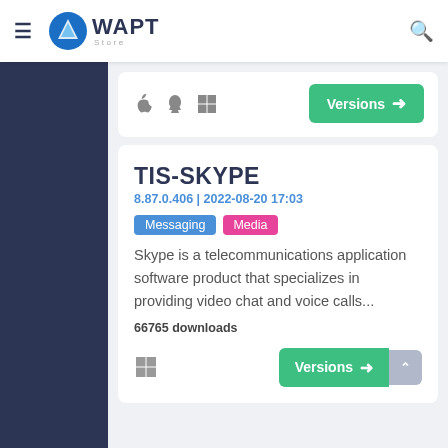[Figure (screenshot): WAPT Store website navigation bar with hamburger menu, WAPT logo, and search icon]
[Figure (screenshot): Partial software listing card showing OS icons (macOS, Linux, Windows) and a green Versions button]
TIS-SKYPE
8.87.0.406 | 2022-08-20 17:03
Messaging
Media
Skype is a telecommunications application software product that specializes in providing video chat and voice calls...
66765 downloads